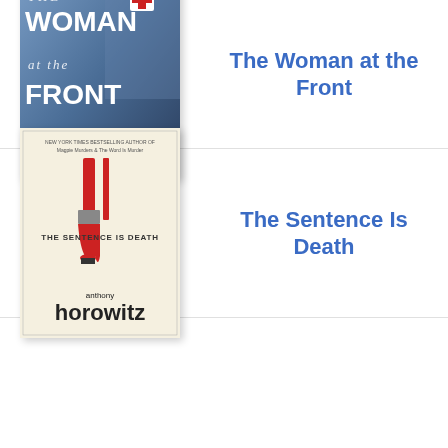[Figure (illustration): Book cover for 'The Woman at the Front' by Lecia Cornwall, showing a nurse figure with a red cross, dark blue background with white text]
The Woman at the Front
[Figure (illustration): Book cover for 'The Sentence Is Death' by Anthony Horowitz, cream background with a red paintbrush graphic and text]
The Sentence Is Death
[Figure (illustration): Partial book cover for a book by Jamie McGuire, showing the author's name in large italic bold text]